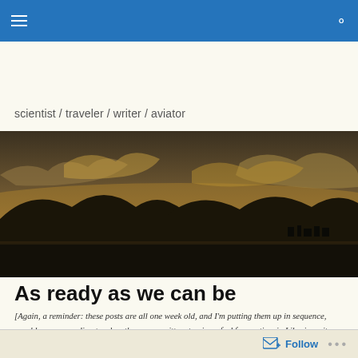scientist / traveler / writer / aviator
[Figure (photo): Panoramic landscape photo showing silhouetted mountains against a dramatic sky with clouds lit golden/orange by the setting or rising sun, with a dark foreground and distant water or flat terrain.]
As ready as we can be
[Again, a reminder: these posts are all one week old, and I'm putting them up in sequence, roughly corresponding to when they were written, to give a feel for my time in Liberia as it happened.]
Follow